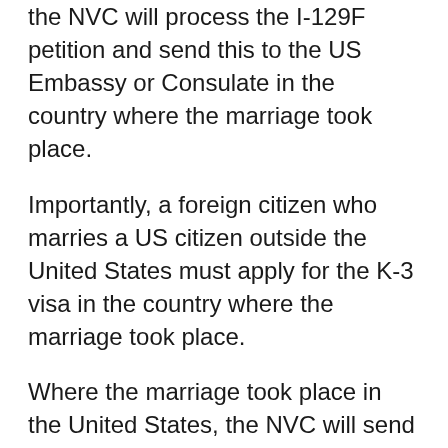the NVC will process the I-129F petition and send this to the US Embassy or Consulate in the country where the marriage took place.
Importantly, a foreign citizen who marries a US citizen outside the United States must apply for the K-3 visa in the country where the marriage took place.
Where the marriage took place in the United States, the NVC will send the petition to the US Embassy or Consulate that issues visas in your country of residence.
To make the K-3 visa appication, you, together with any eligible children applying for a K-4 visa, will need to complete Form DS-160, Online Nonimmigrant Visa Application.